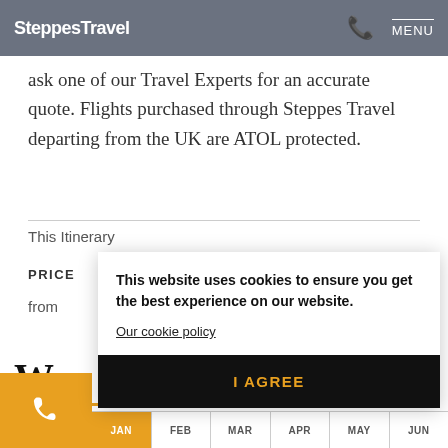SteppesTravel  MENU
ask one of our Travel Experts for an accurate quote. Flights purchased through Steppes Travel departing from the UK are ATOL protected.
This Itinerary
PRICE
from
[Figure (screenshot): Cookie consent modal with text 'This website uses cookies to ensure you get the best experience on our website.' and 'Our cookie policy' link, and 'I AGREE' button.]
W
JAN  FEB  MAR  APR  MAY  JUN